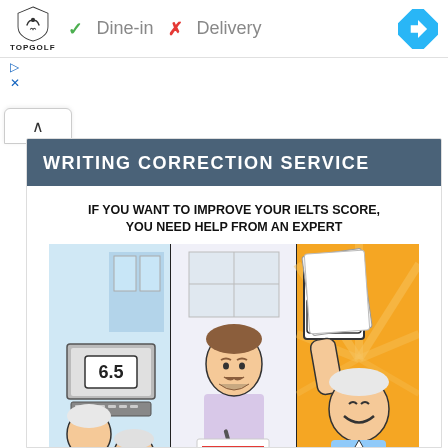[Figure (logo): Topgolf logo — shield shape with bird, brand name below]
✓ Dine-in  ✗ Delivery
[Figure (other): Blue diamond navigation/directions icon]
[Figure (other): Small play and close icons]
[Figure (other): Collapse/chevron up button]
WRITING CORRECTION SERVICE
[Figure (illustration): Comic-style illustration showing IELTS writing correction service. Text at top: IF YOU WANT TO IMPROVE YOUR IELTS SCORE, YOU NEED HELP FROM AN EXPERT. Three panels: left panel shows students at desks with score 6.5, center panel shows an expert teacher writing, right panel shows a happy student with score 7.0 and papers.]